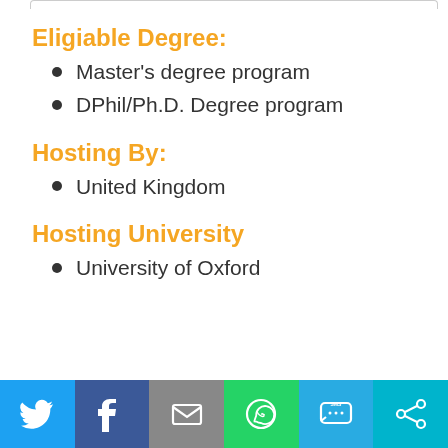Eligiable Degree:
Master's degree program
DPhil/Ph.D. Degree program
Hosting By:
United Kingdom
Hosting University
University of Oxford